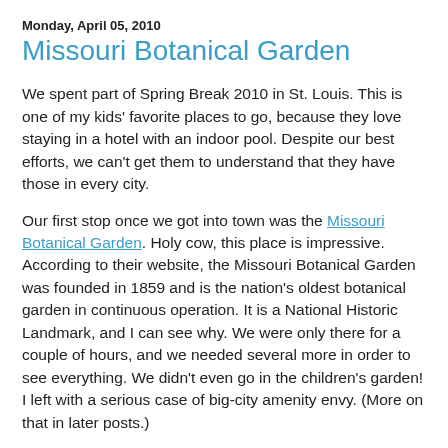Monday, April 05, 2010
Missouri Botanical Garden
We spent part of Spring Break 2010 in St. Louis. This is one of my kids' favorite places to go, because they love staying in a hotel with an indoor pool. Despite our best efforts, we can't get them to understand that they have those in every city.
Our first stop once we got into town was the Missouri Botanical Garden. Holy cow, this place is impressive. According to their website, the Missouri Botanical Garden was founded in 1859 and is the nation's oldest botanical garden in continuous operation. It is a National Historic Landmark, and I can see why. We were only there for a couple of hours, and we needed several more in order to see everything. We didn't even go in the children's garden! I left with a serious case of big-city amenity envy. (More on that in later posts.)
[Figure (photo): Photo of Missouri Botanical Garden exterior, partially visible at bottom of page]